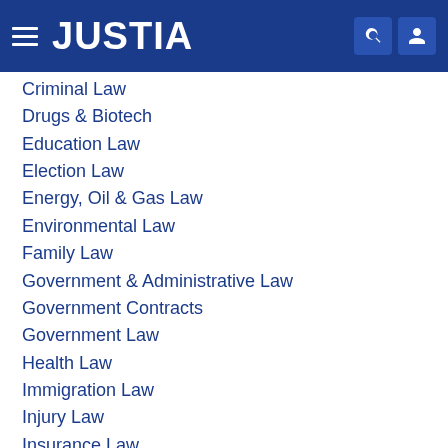JUSTIA
Criminal Law
Drugs & Biotech
Education Law
Election Law
Energy, Oil & Gas Law
Environmental Law
Family Law
Government & Administrative Law
Government Contracts
Government Law
Health Law
Immigration Law
Injury Law
Insurance Law
Intellectual Property
International Law
International Trade
Labor & Employment Law
Legal Ethics